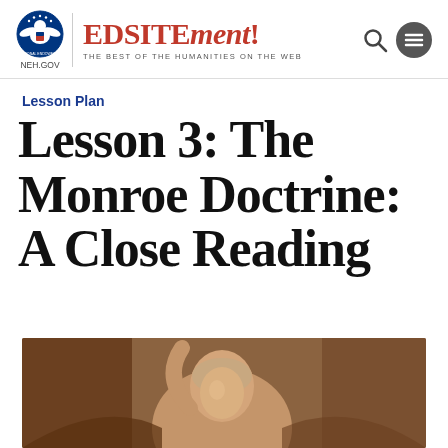NEH.GOV | EDSITEment! THE BEST OF THE HUMANITIES ON THE WEB
Lesson Plan
Lesson 3: The Monroe Doctrine: A Close Reading
[Figure (photo): Historical portrait painting of a man, partially visible at the bottom of the page, sepia/warm toned]